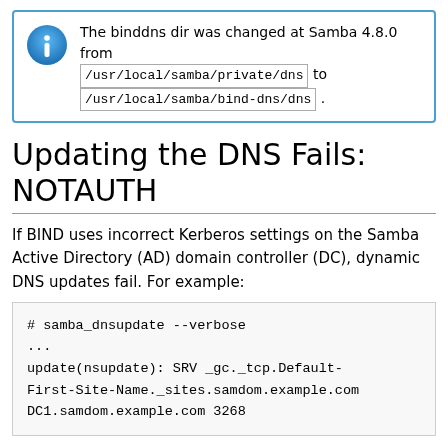The binddns dir was changed at Samba 4.8.0 from /usr/local/samba/private/dns to /usr/local/samba/bind-dns/dns.
Updating the DNS Fails: NOTAUTH
If BIND uses incorrect Kerberos settings on the Samba Active Directory (AD) domain controller (DC), dynamic DNS updates fail. For example:
# samba_dnsupdate --verbose
...
update(nsupdate): SRV _gc._tcp.Default-First-Site-Name._sites.samdom.example.com DC1.samdom.example.com 3268